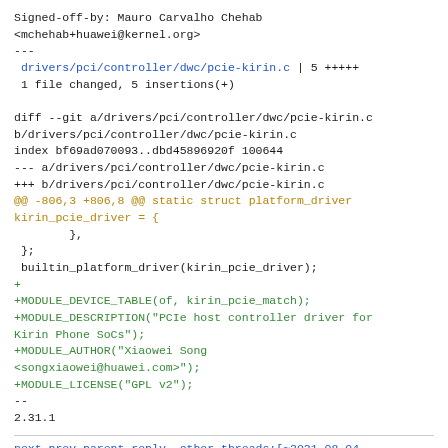Signed-off-by: Mauro Carvalho Chehab
<mchehab+huawei@kernel.org>
---
 drivers/pci/controller/dwc/pcie-kirin.c | 5 +++++
 1 file changed, 5 insertions(+)

diff --git a/drivers/pci/controller/dwc/pcie-kirin.c b/drivers/pci/controller/dwc/pcie-kirin.c
index bf69ad070093..dbd45896920f 100644
--- a/drivers/pci/controller/dwc/pcie-kirin.c
+++ b/drivers/pci/controller/dwc/pcie-kirin.c
@@ -806,3 +806,8 @@ static struct platform_driver kirin_pcie_driver = {
         },
  };
 builtin_platform_driver(kirin_pcie_driver);
+
+MODULE_DEVICE_TABLE(of, kirin_pcie_match);
+MODULE_DESCRIPTION("PCIe host controller driver for Kirin Phone SoCs");
+MODULE_AUTHOR("Xiaowei Song <songxiaowei@huawei.com>");
+MODULE_LICENSE("GPL v2");
--
2.31.1
next prev parent reply  other threads:[~2021-08-04